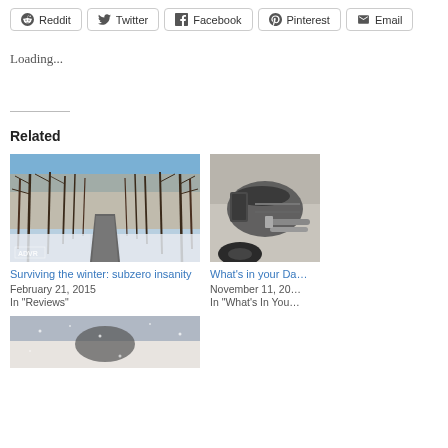Reddit
Twitter
Facebook
Pinterest
Email
Loading...
Related
[Figure (photo): Snowy wooded road in winter with bare trees and snow on the sides, ADVR watermark in lower left]
Surviving the winter: subzero insanity
February 21, 2015
In "Reviews"
[Figure (photo): Close-up of a motorcycle rear section with luggage system, outdoors]
What’s in your Da…
November 11, 20…
In "What’s In You…
[Figure (photo): Partial photo at bottom of page, appears to show a motorcycle or rider in snowy conditions]